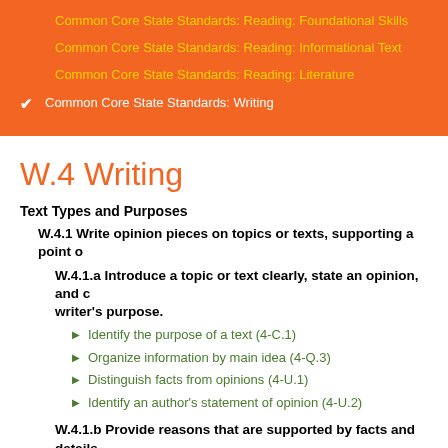Common Core State Standards: Reading: Foundational Skills
Common Core State Standards: Reading: Informational Text
Common Core State Standards: Reading: Literature
Common Core State Standards: Writing
W.4 Writing
Text Types and Purposes
W.4.1 Write opinion pieces on topics or texts, supporting a point o...
W.4.1.a Introduce a topic or text clearly, state an opinion, and c... writer's purpose.
Identify the purpose of a text (4-C.1)
Organize information by main idea (4-Q.3)
Distinguish facts from opinions (4-U.1)
Identify an author's statement of opinion (4-U.2)
W.4.1.b Provide reasons that are supported by facts and details...